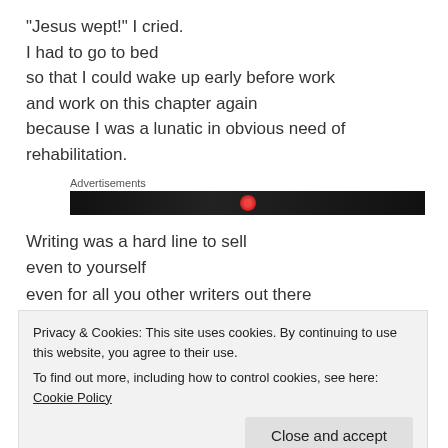“Jesus wept!” I cried.
I had to go to bed
so that I could wake up early before work
and work on this chapter again
because I was a lunatic in obvious need of rehabilitation.
Advertisements
[Figure (other): Dark/black advertisement banner with a small red circular icon in the center]
Writing was a hard line to sell
even to yourself
even for all you other writers out there
Privacy & Cookies: This site uses cookies. By continuing to use this website, you agree to their use.
To find out more, including how to control cookies, see here: Cookie Policy
Close and accept